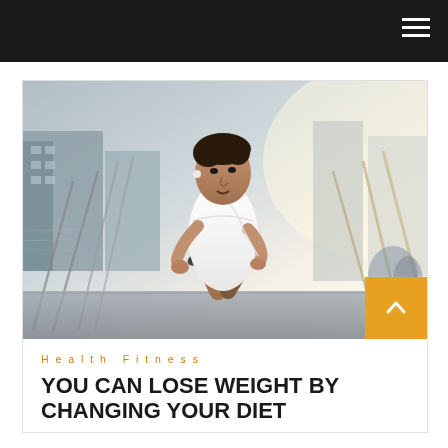[Figure (photo): A man in a white t-shirt running outdoors on a bridge or walkway, wearing earphones, with urban buildings in the background. Motion blur effect visible.]
Health Fitness
YOU CAN LOSE WEIGHT BY CHANGING YOUR DIET